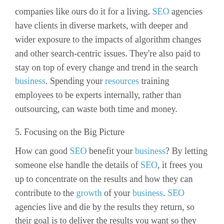companies like ours do it for a living. SEO agencies have clients in diverse markets, with deeper and wider exposure to the impacts of algorithm changes and other search-centric issues. They're also paid to stay on top of every change and trend in the search business. Spending your resources training employees to be experts internally, rather than outsourcing, can waste both time and money.
5. Focusing on the Big Picture
How can good SEO benefit your business? By letting someone else handle the details of SEO, it frees you up to concentrate on the results and how they can contribute to the growth of your business. SEO agencies live and die by the results they return, so their goal is to deliver the results you want so they can stay in business.
While you still might decide to handle SEO internally,